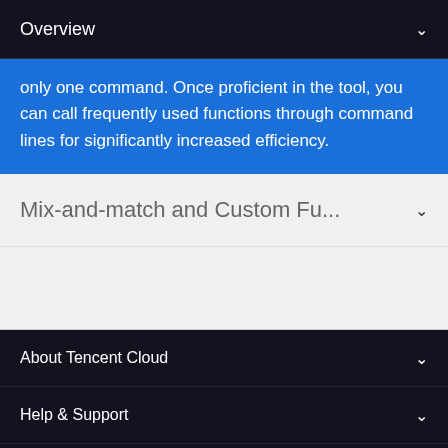Overview
only one command. Once proficient in the tool, you can call frequently used functions through command lines for significantly increased efficiency.
Mix-and-match and Custom Fu...
About Tencent Cloud
Help & Support
Resources
User Center